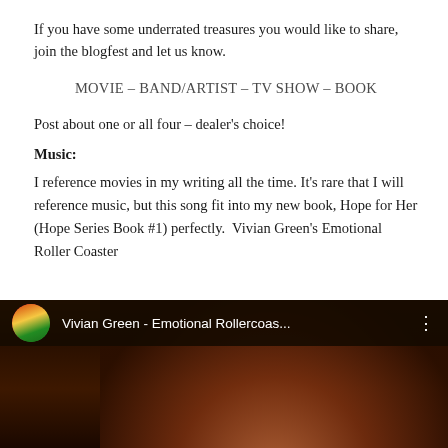If you have some underrated treasures you would like to share, join the blogfest and let us know.
MOVIE – BAND/ARTIST – TV SHOW – BOOK
Post about one or all four – dealer's choice!
Music:
I reference movies in my writing all the time. It's rare that I will reference music, but this song fit into my new book, Hope for Her (Hope Series Book #1) perfectly.  Vivian Green's Emotional Roller Coaster
[Figure (screenshot): YouTube video thumbnail for Vivian Green - Emotional Rollercoas... with avatar icon and three-dot menu]